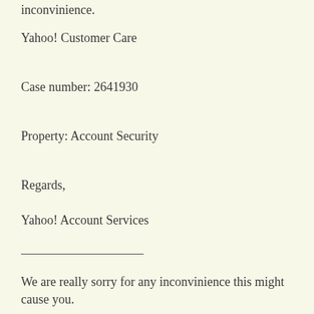inconvinience.
Yahoo! Customer Care
Case number: 2641930
Property: Account Security
Regards,
Yahoo! Account Services
We are really sorry for any inconvinience this might cause you.
WHT YAHOO CAN'T TAKE LEGAL MEASURES AGAINST THEM AND BRING THEM TO COURT?